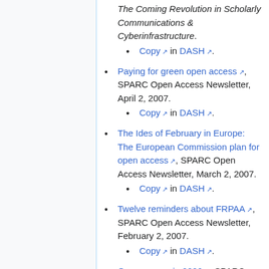2007) on The Coming Revolution in Scholarly Communications & Cyberinfrastructure.
Copy in DASH.
Paying for green open access, SPARC Open Access Newsletter, April 2, 2007.
Copy in DASH.
The Ides of February in Europe: The European Commission plan for open access, SPARC Open Access Newsletter, March 2, 2007.
Copy in DASH.
Twelve reminders about FRPAA, SPARC Open Access Newsletter, February 2, 2007.
Copy in DASH.
Open access in 2006, SPARC Open Access Newsletter, January 2...